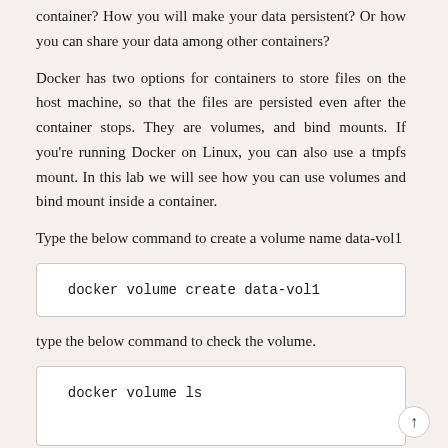container? How you will make your data persistent? Or how you can share your data among other containers?
Docker has two options for containers to store files on the host machine, so that the files are persisted even after the container stops. They are volumes, and bind mounts. If you're running Docker on Linux, you can also use a tmpfs mount. In this lab we will see how you can use volumes and bind mount inside a container.
Type the below command to create a volume name data-vol1
[Figure (screenshot): Code block showing: docker volume create data-vol1]
type the below command to check the volume.
[Figure (screenshot): Code block showing: docker volume ls (partially visible)]